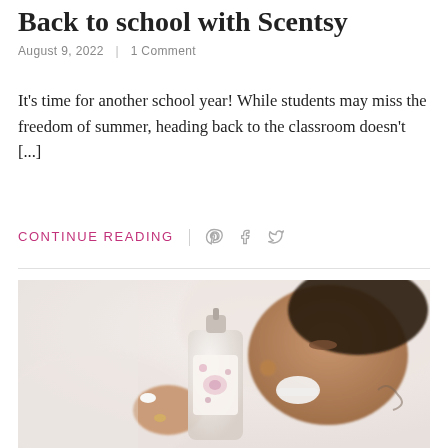Back to school with Scentsy
August 9, 2022 | 1 Comment
It’s time for another school year! While students may miss the freedom of summer, heading back to the classroom doesn’t […]
Continue Reading
[Figure (photo): A smiling person lying down holding a decorative spray bottle or perfume bottle with a floral label. The background is soft and blurred white/light tones.]